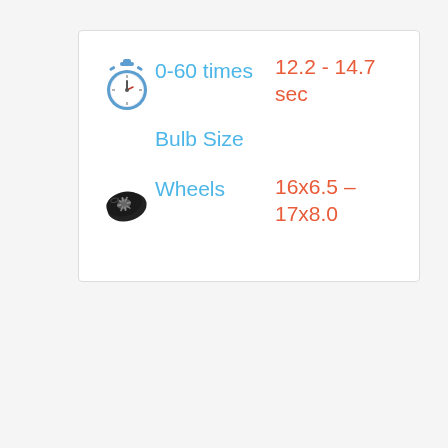0-60 times 12.2 - 14.7 sec
Bulb Size
Wheels 16x6.5 – 17x8.0